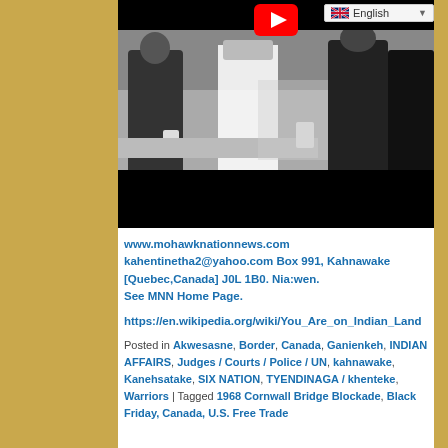[Figure (photo): Black and white photograph showing people standing near a table with cups, partially overlaid with a YouTube play button icon in the upper area. A language selector showing 'English' with UK flag is visible in the top right.]
www.mohawknationnews.com kahentinetha2@yahoo.com Box 991, Kahnawake [Quebec,Canada] J0L 1B0. Nia:wen. See MNN Home Page.
https://en.wikipedia.org/wiki/You_Are_on_Indian_Land
Posted in Akwesasne, Border, Canada, Ganienkeh, INDIAN AFFAIRS, Judges / Courts / Police / UN, kahnawake, Kanehsatake, SIX NATION, TYENDINAGA / khenteke, Warriors | Tagged 1968 Cornwall Bridge Blockade, Black Friday, Canada, U.S. Free Trade Agreement, ...